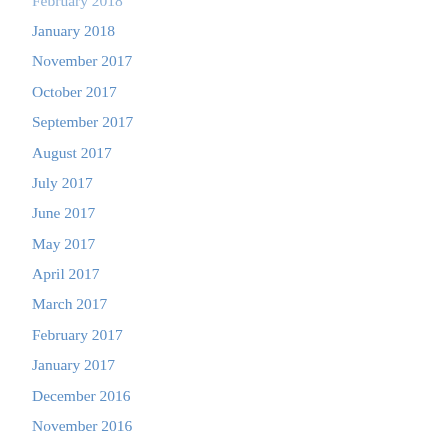February 2018 (truncated/partial)
January 2018
November 2017
October 2017
September 2017
August 2017
July 2017
June 2017
May 2017
April 2017
March 2017
February 2017
January 2017
December 2016
November 2016
October 2016
September 2016
May 2016